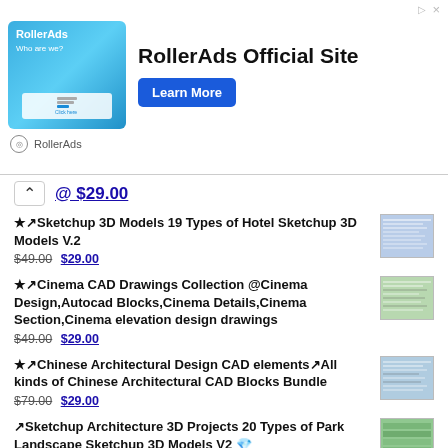[Figure (advertisement): RollerAds Official Site banner advertisement with blue image on left, bold headline, Learn More button, and RollerAds footer logo]
@ $29.00
★↗Sketchup 3D Models  19 Types of Hotel Sketchup 3D Models V.2 $49.00 $29.00
★↗Cinema CAD Drawings Collection  @Cinema Design,Autocad Blocks,Cinema Details,Cinema Section,Cinema elevation design drawings $49.00 $29.00
★↗Chinese Architectural Design CAD elements↗All kinds of Chinese Architectural CAD Blocks Bundle $79.00 $29.00
↗Sketchup Architecture 3D Projects  20 Types of Park Landscape Sketchup 3D Models V2 $29.00